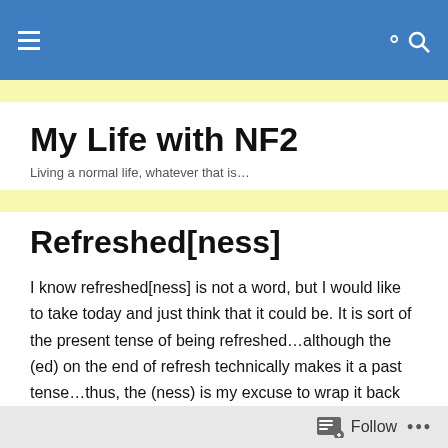My Life with NF2 — blog header navigation bar
My Life with NF2
Living a normal life, whatever that is…
Refreshed[ness]
I know refreshed[ness] is not a word, but I would like to take today and just think that it could be. It is sort of the present tense of being refreshed…although the (ed) on the end of refresh technically makes it a past tense…thus, the (ness) is my excuse to wrap it back around to the moment. Make sense? LOL. I don't think it does, but I just
Follow